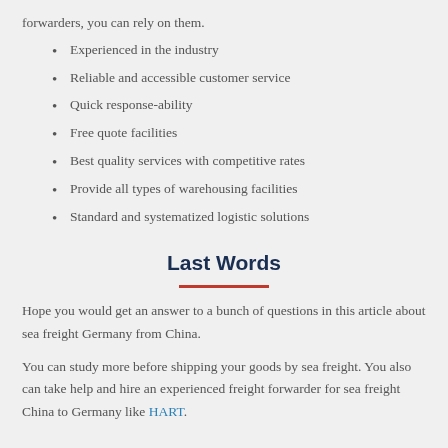forwarders, you can rely on them.
Experienced in the industry
Reliable and accessible customer service
Quick response-ability
Free quote facilities
Best quality services with competitive rates
Provide all types of warehousing facilities
Standard and systematized logistic solutions
Last Words
Hope you would get an answer to a bunch of questions in this article about sea freight Germany from China.
You can study more before shipping your goods by sea freight. You also can take help and hire an experienced freight forwarder for sea freight China to Germany like HART.